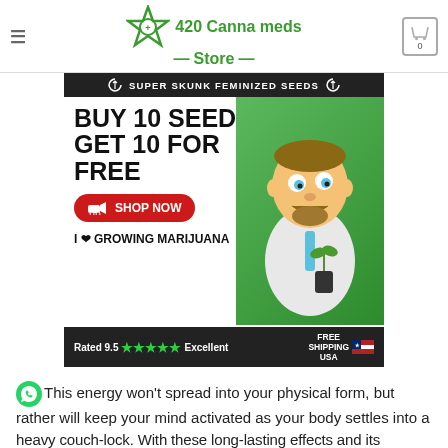420 Canna meds Store
[Figure (infographic): Advertisement banner for cannabis seeds: 'SUPER SKUNK FEMINIZED SEEDS' header, 'BUY 10 SEEDS GET 10 FOR FREE', red SHOP NOW button, cartoon scientist holding plant, I LOVE GROWING MARIJUANA text, Rated 9.5 Excellent with green stars, FREE SHIPPING USA badge]
This energy won't spread into your physical form, but rather will keep your mind activated as your body settles into a heavy couch-lock. With these long-lasting effects and its high 20% ... THC level. Sticky. Remains after...